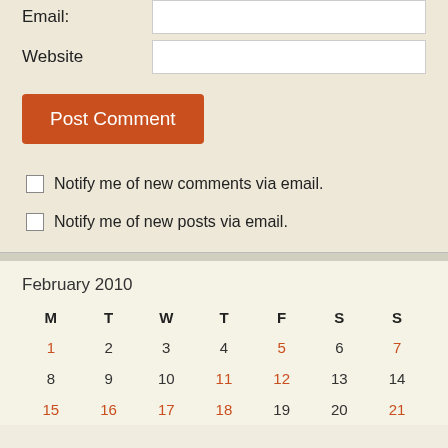Email:
Website
Post Comment
Notify me of new comments via email.
Notify me of new posts via email.
February 2010
| M | T | W | T | F | S | S |
| --- | --- | --- | --- | --- | --- | --- |
| 1 | 2 | 3 | 4 | 5 | 6 | 7 |
| 8 | 9 | 10 | 11 | 12 | 13 | 14 |
| 15 | 16 | 17 | 18 | 19 | 20 | 21 |